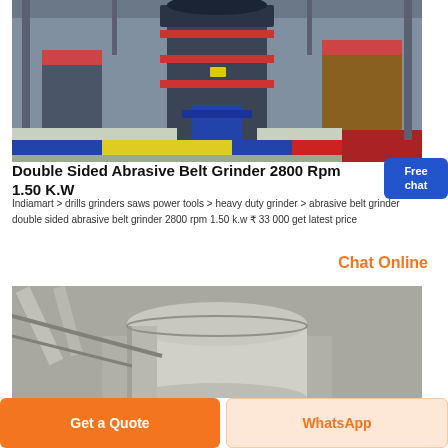[Figure (photo): Industrial machine - Double Sided Abrasive Belt Grinder photographed in a factory setting. Large heavy-duty grinding machine with red and blue structural elements on a grey floor.]
Double Sided Abrasive Belt Grinder 2800 Rpm 1.50 K.W
Indiamart > drills grinders saws power tools > heavy duty grinder > abrasive belt grinder double sided abrasive belt grinder 2800 rpm 1.50 k.w ₹ 33 000 get latest price
Chat Online
[Figure (photo): Industrial silo or tank equipment in a factory, showing large cylindrical metal vessels with piping, photographed from below looking up.]
Get a Quote
WhatsApp